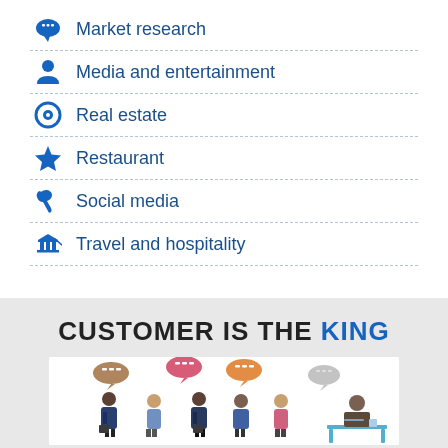Market research
Media and entertainment
Real estate
Restaurant
Social media
Travel and hospitality
CUSTOMER IS THE KING
[Figure (illustration): Group of business people with speech bubbles talking to a person seated at a desk]